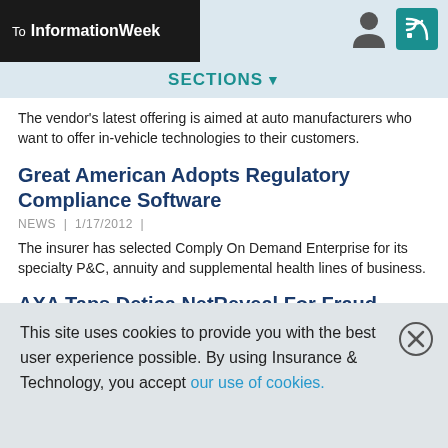To InformationWeek
SECTIONS
The vendor's latest offering is aimed at auto manufacturers who want to offer in-vehicle technologies to their customers.
Great American Adopts Regulatory Compliance Software
NEWS | 1/17/2012 |
The insurer has selected Comply On Demand Enterprise for its specialty P&C, annuity and supplemental health lines of business.
AXA Taps Detica NetReveal For Fraud Prevention
NEWS | 1/17/2012 |
AXA says that the NetReveal solution will provide the Paris-based with effective means of reducing risk, preventing and discovering more fraudulent claims, improving positive customer service levels and allowing
This site uses cookies to provide you with the best user experience possible. By using Insurance & Technology, you accept our use of cookies.